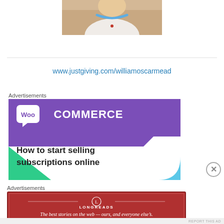[Figure (photo): Baby/infant photo cropped at top, showing upper torso with white shirt and teal necklace/collar]
www.justgiving.com/williamoscarmead
Advertisements
[Figure (screenshot): WooCommerce advertisement banner: purple background with WooCommerce logo, teal and blue triangular decorative elements, text 'How to start selling subscriptions online']
Advertisements
[Figure (screenshot): Longreads advertisement: dark red/crimson banner with Longreads logo and tagline 'The best stories on the web — ours, and everyone else's.']